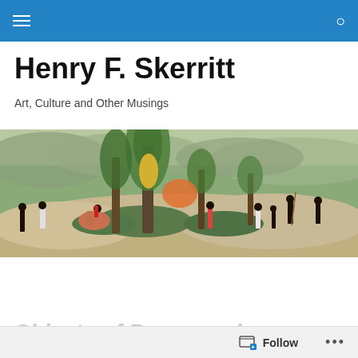Henry F. Skerritt — site header with menu and search icons
Henry F. Skerritt
Art, Culture and Other Musings
[Figure (illustration): Panoramic painting depicting an Australian landscape scene with Aboriginal figures and a European rider on horseback, tall palm-like trees, rocky terrain, and distant hills with muted greens and earth tones.]
TAGGED WITH ARTHUR DANTO
FEATURED
Objects of Power and…
Follow  •••